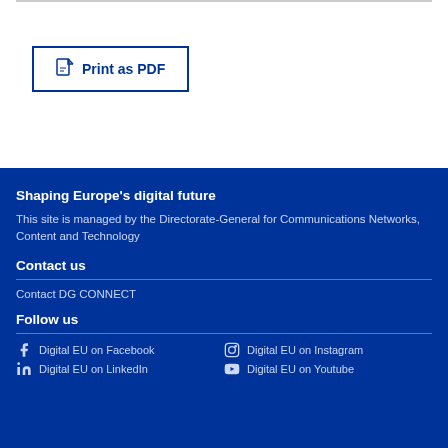[Figure (other): Print as PDF button with PDF icon]
Shaping Europe's digital future
This site is managed by the Directorate-General for Communications Networks, Content and Technology
Contact us
Contact DG CONNECT
Follow us
Digital EU on Facebook
Digital EU on Instagram
Digital EU on LinkedIn
Digital EU on Youtube